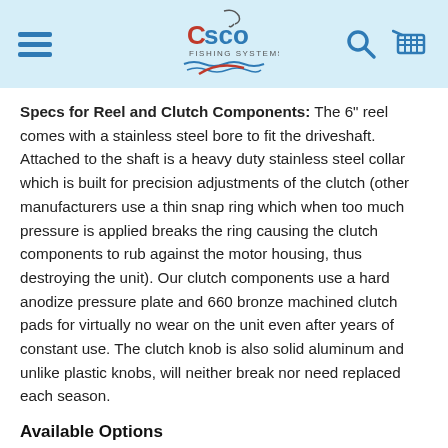Cisco Fishing Systems - header with hamburger menu, logo, search and cart icons
Specs for Reel and Clutch Components: The 6" reel comes with a stainless steel bore to fit the driveshaft. Attached to the shaft is a heavy duty stainless steel collar which is built for precision adjustments of the clutch (other manufacturers use a thin snap ring which when too much pressure is applied breaks the ring causing the clutch components to rub against the motor housing, thus destroying the unit). Our clutch components use a hard anodize pressure plate and 660 bronze machined clutch pads for virtually no wear on the unit even after years of constant use.  The clutch knob is also solid aluminum and unlike plastic knobs, will neither break nor need replaced each season.
Available Options